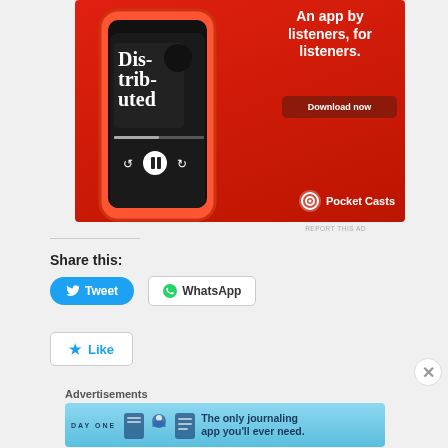[Figure (photo): Pocket Casts advertisement banner on red background featuring a smartphone showing the 'Distributed' podcast, text 'An app by listeners, for listeners.', a 'Download now' button, and the Pocket Casts logo.]
REPORT THIS AD
Share this:
[Figure (other): Tweet button (blue, with Twitter bird icon) and WhatsApp button (white with WhatsApp icon)]
[Figure (other): Like button with star icon]
Advertisements
[Figure (other): Day One app advertisement - 'The only journaling app you'll ever need.' on blue background with app icons]